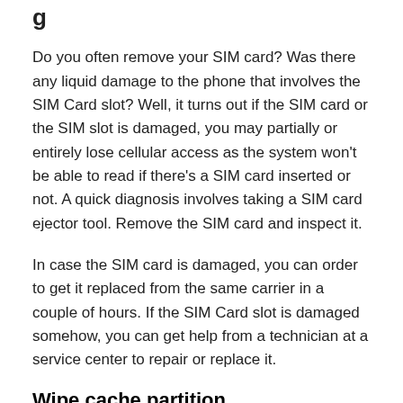g
Do you often remove your SIM card? Was there any liquid damage to the phone that involves the SIM Card slot? Well, it turns out if the SIM card or the SIM slot is damaged, you may partially or entirely lose cellular access as the system won't be able to read if there's a SIM card inserted or not. A quick diagnosis involves taking a SIM card ejector tool. Remove the SIM card and inspect it.
In case the SIM card is damaged, you can order to get it replaced from the same carrier in a couple of hours. If the SIM Card slot is damaged somehow, you can get help from a technician at a service center to repair or replace it.
Wipe cache partition
Cache files do speed up the retrieval of apps and